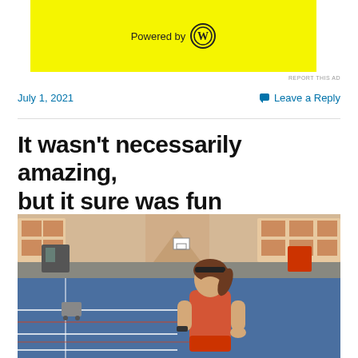[Figure (other): Yellow advertisement banner with 'Powered by WordPress' logo]
REPORT THIS AD
July 1, 2021
Leave a Reply
It wasn't necessarily amazing, but it sure was fun
[Figure (photo): Woman in red tank top and black headband standing on an indoor basketball court, looking down with hands on hips. The gym has blue flooring, white court lines, and large windows in the background.]